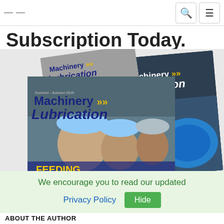Subscription Today.
[Figure (photo): Three issues of Machinery Lubrication magazine overlapping each other. The front cover shows industrial workers with 'FEEDING THE FUTURE', a back cover shows industrial machinery with 'USES OF RELIABLE EQUIPMENT', and a smaller cover on top shows the Machinery Lubrication logo.]
We encourage you to read our updated Privacy Policy  Hide
About the Author